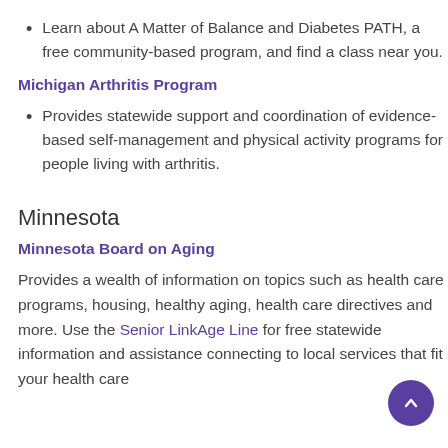Learn about A Matter of Balance and Diabetes PATH, a free community-based program, and find a class near you.
Michigan Arthritis Program
Provides statewide support and coordination of evidence-based self-management and physical activity programs for people living with arthritis.
Minnesota
Minnesota Board on Aging
Provides a wealth of information on topics such as health care programs, housing, healthy aging, health care directives and more. Use the Senior LinkAge Line for free statewide information and assistance connecting to local services that fit your health care